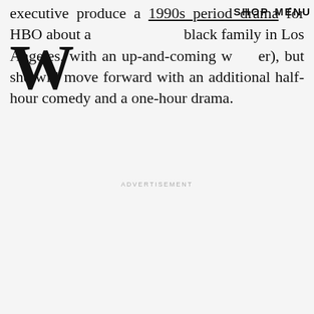SHOP   MENU
executive produce a 1990s period drama for HBO about a black family in Los Angeles, with an up-and-coming writer), but she will move forward with an additional half-hour comedy and a one-hour drama.
ADVERTISEMENT